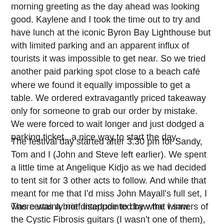morning greeting as the day ahead was looking good. Kaylene and I took the time out to try and have lunch at the iconic Byron Bay Lighthouse but with limited parking and an apparent influx of tourists it was impossible to get near. So we tried another paid parking spot close to a beach café  where we found it equally impossible to get a table. We ordered extravagantly priced takeaway only for someone to grab our order by mistake. We were forced to wait longer and just dodged a parking ticket...a nice way to start the day.
The festival day started after 3.30 pm for Sandy, Tom and I (John and Steve left earlier). We spent a little time at Angelique Kidjo as we had decided to tent sit for 3 other acts to follow. And while that meant for me that I'd miss John Mayall's full set, I was certainly not disappointed by what I saw.
There was a brief interlude to draw the winners of the Cystic Fibrosis guitars (I wasn't one of them), with Peter Noble